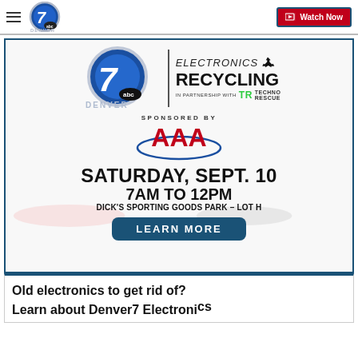Denver7 ABC | Watch Now
[Figure (infographic): Denver7 Electronics Recycling event advertisement banner. Denver7 ABC logo with Electronics Recycling text and Techno Rescue partnership. Sponsored by AAA. Saturday, Sept. 10, 7AM to 12PM, Dick's Sporting Goods Park – Lot H. Learn More button.]
Old electronics to get rid of? Learn about Denver7 Electronics Recycling